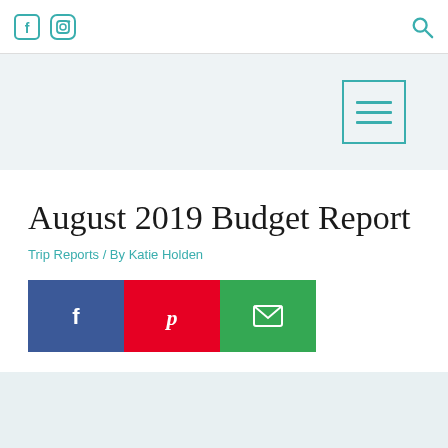Facebook | Instagram | Search
[Figure (other): Header band with hamburger menu button (teal bordered square with three horizontal lines)]
August 2019 Budget Report
Trip Reports / By Katie Holden
[Figure (other): Social share buttons: Facebook (blue), Pinterest (red), Email (green)]